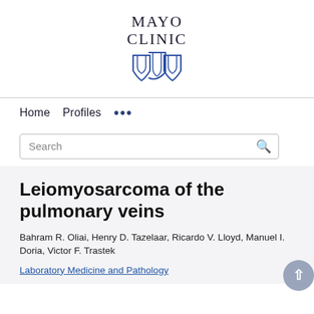[Figure (logo): Mayo Clinic logo with shield emblem in blue and text 'MAYO CLINIC']
Home  Profiles  ...
Search
Leiomyosarcoma of the pulmonary veins
Bahram R. Oliai, Henry D. Tazelaar, Ricardo V. Lloyd, Manuel I. Doria, Victor F. Trastek
Laboratory Medicine and Pathology